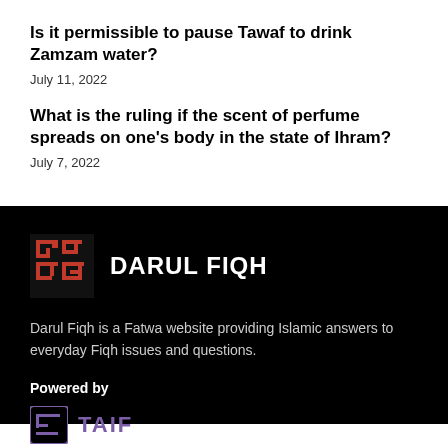Is it permissible to pause Tawaf to drink Zamzam water?
July 11, 2022
What is the ruling if the scent of perfume spreads on one's body in the state of Ihram?
July 7, 2022
[Figure (logo): Darul Fiqh logo with Arabic calligraphy in red and white brand name text]
Darul Fiqh is a Fatwa website providing Islamic answers to everyday Fiqh issues and questions.
Powered by
[Figure (logo): TAIF logo with purple icon and purple text]